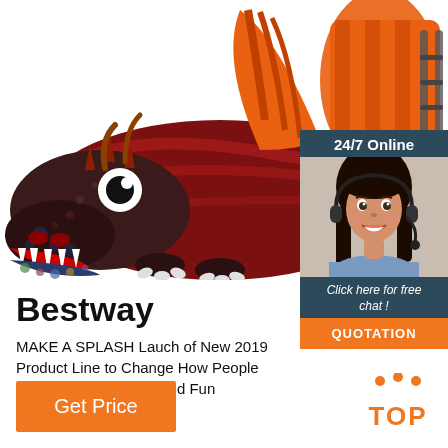[Figure (photo): Large inflatable dragon water slide toy — red/orange dragon with open mouth, white teeth, and orange slide structure on its back, displayed on white background]
[Figure (photo): 24/7 Online chat widget box with dark teal/navy background. Shows text '24/7 Online' at top, photo of smiling brunette woman wearing headset/microphone, text 'Click here for free chat !' and orange button labeled 'QUOTATION']
Bestway
MAKE A SPLASH Lauch of New 2019 Product Line to Change How People Think About Summer and Fun
Get Price
TOP